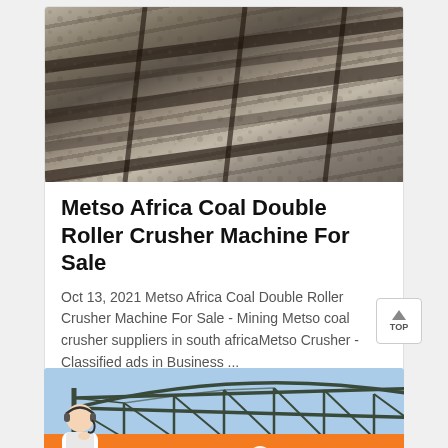[Figure (photo): Aerial view of mining conveyor belts with rocks and coal, industrial mining facility]
Metso Africa Coal Double Roller Crusher Machine For Sale
Oct 13, 2021 Metso Africa Coal Double Roller Crusher Machine For Sale - Mining Metso coal crusher suppliers in south africaMetso Crusher - Classified ads in Business ...
[Figure (photo): Steel truss/frame structure under blue sky, construction or industrial building framework]